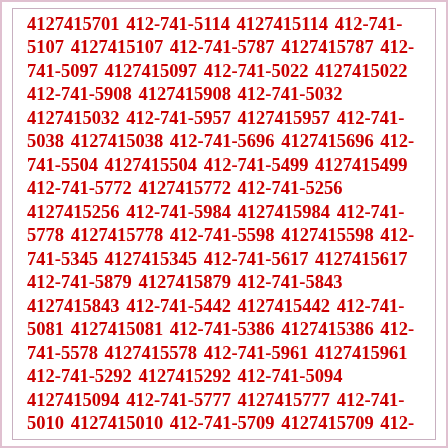4127415701 412-741-5114 4127415114 412-741-5107 4127415107 412-741-5787 4127415787 412-741-5097 4127415097 412-741-5022 4127415022 412-741-5908 4127415908 412-741-5032 4127415032 412-741-5957 4127415957 412-741-5038 4127415038 412-741-5696 4127415696 412-741-5504 4127415504 412-741-5499 4127415499 412-741-5772 4127415772 412-741-5256 4127415256 412-741-5984 4127415984 412-741-5778 4127415778 412-741-5598 4127415598 412-741-5345 4127415345 412-741-5617 4127415617 412-741-5879 4127415879 412-741-5843 4127415843 412-741-5442 4127415442 412-741-5081 4127415081 412-741-5386 4127415386 412-741-5578 4127415578 412-741-5961 4127415961 412-741-5292 4127415292 412-741-5094 4127415094 412-741-5777 4127415777 412-741-5010 4127415010 412-741-5709 4127415709 412-741-5836 4127415836 412-741-5799 4127415799 412-741-5130 4127415130 412-